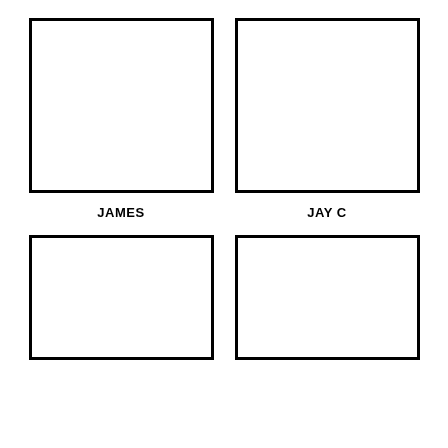[Figure (other): Empty portrait photo placeholder box for JAMES]
[Figure (other): Empty portrait photo placeholder box for JAY C]
JAMES
JAY C
[Figure (other): Empty portrait photo placeholder box (bottom left, name not shown)]
[Figure (other): Empty portrait photo placeholder box (bottom right, name not shown)]